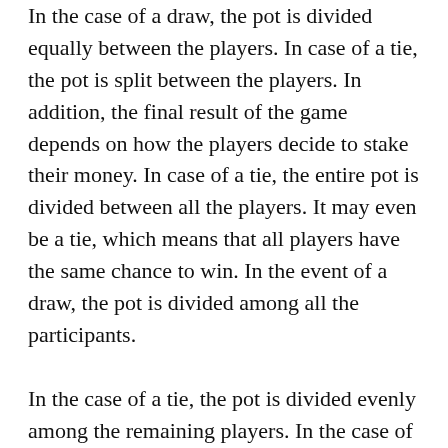In the case of a draw, the pot is divided equally between the players. In case of a tie, the pot is split between the players. In addition, the final result of the game depends on how the players decide to stake their money. In case of a tie, the entire pot is divided between all the players. It may even be a tie, which means that all players have the same chance to win. In the event of a draw, the pot is divided among all the participants.
In the case of a tie, the pot is divided evenly among the remaining players. In the case of a tie, the winner of a round is determined by the higher pair. If two players have pairs of different values, the highest pair wins. If they have two different pairs, the winner is